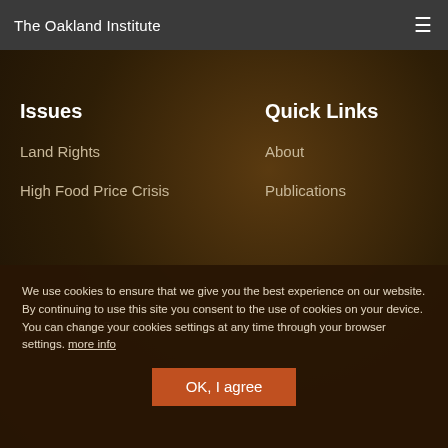The Oakland Institute
Issues
Land Rights
High Food Price Crisis
Sustainable Food Syst...
Quick Links
About
Publications
Contact Us
We use cookies to ensure that we give you the best experience on our website. By continuing to use this site you consent to the use of cookies on your device. You can change your cookies settings at any time through your browser settings. more info
OK, I agree